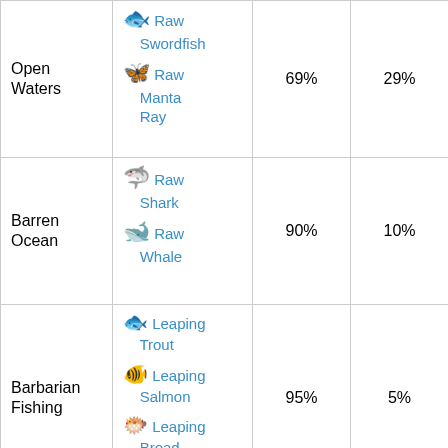| Location | Fish |  |  |
| --- | --- | --- | --- |
| Open Waters | 🐟 Raw Swordfish
🐟 Raw Manta Ray | 69% | 29% |
| Barren Ocean | 🦈 Raw Shark
🐋 Raw Whale | 90% | 10% |
| Barbarian Fishing | 🐟 Leaping Trout
🐟 Leaping Salmon
🐟 Leaping Broad Fish | 95% | 5% |